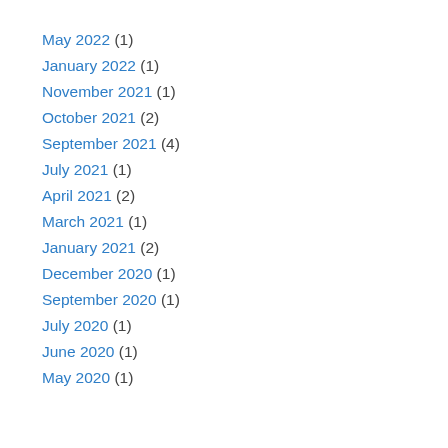May 2022 (1)
January 2022 (1)
November 2021 (1)
October 2021 (2)
September 2021 (4)
July 2021 (1)
April 2021 (2)
March 2021 (1)
January 2021 (2)
December 2020 (1)
September 2020 (1)
July 2020 (1)
June 2020 (1)
May 2020 (1)